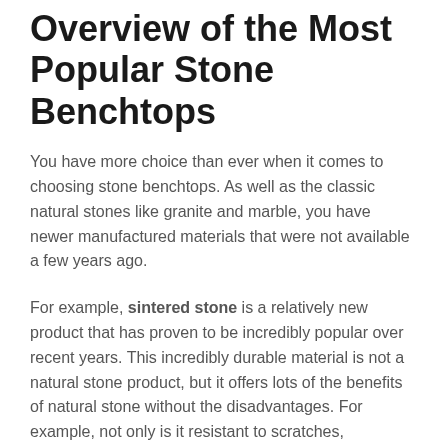Overview of the Most Popular Stone Benchtops
You have more choice than ever when it comes to choosing stone benchtops. As well as the classic natural stones like granite and marble, you have newer manufactured materials that were not available a few years ago.
For example, sintered stone is a relatively new product that has proven to be incredibly popular over recent years. This incredibly durable material is not a natural stone product, but it offers lots of the benefits of natural stone without the disadvantages. For example, not only is it resistant to scratches, chemicals, impacts and liquids, but it is also incredibly versatile and does not require sealing.